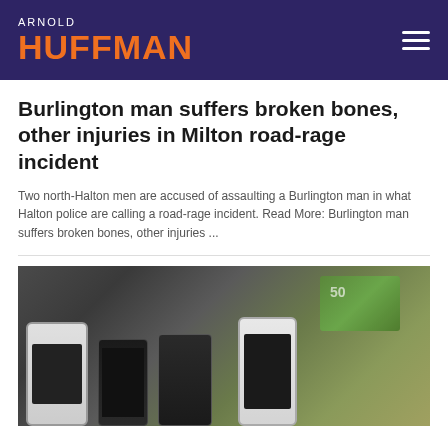ARNOLD HUFFMAN
Burlington man suffers broken bones, other injuries in Milton road-rage incident
Two north-Halton men are accused of assaulting a Burlington man in what Halton police are calling a road-rage incident. Read More: Burlington man suffers broken bones, other injuries ...
[Figure (photo): Photo showing multiple smartphones (BlackBerry, two black phones, iPhone) and a stack of Canadian $50 bills laid out on a dark surface, likely evidence from a police seizure.]